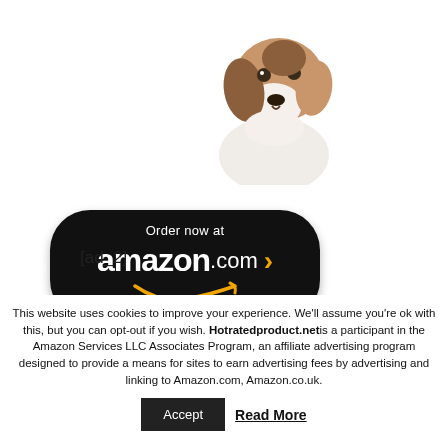[Figure (photo): A small beagle-mix dog looking to the left, white and brown coloring, on white background]
[Figure (logo): Black rounded rectangle button with 'Order now at amazon.com >' text and Amazon smile logo in yellow]
[ad_2]
This website uses cookies to improve your experience. We'll assume you're ok with this, but you can opt-out if you wish. Hotratedproduct.net is a participant in the Amazon Services LLC Associates Program, an affiliate advertising program designed to provide a means for sites to earn advertising fees by advertising and linking to Amazon.com, Amazon.co.uk.
Accept
Read More